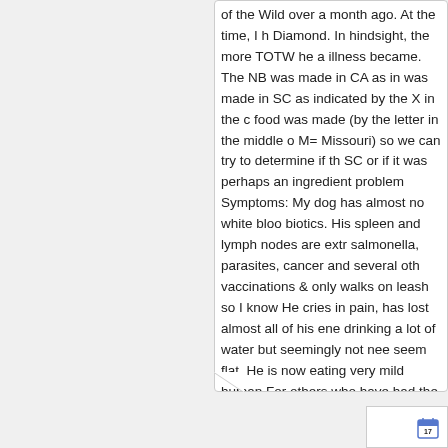of the Wild over a month ago. At the time, I h Diamond. In hindsight, the more TOTW he a illness became. The NB was made in CA as in was made in SC as indicated by the X in the c food was made (by the letter in the middle o M= Missouri) so we can try to determine if th SC or if it was perhaps an ingredient problem Symptoms: My dog has almost no white bloo biotics. His spleen and lymph nodes are extr salmonella, parasites, cancer and several oth vaccinations & only walks on leash so I know He cries in pain, has lost almost all of his ene drinking a lot of water but seemingly not nee seem flat. He is now eating very mild human For others who have had the food tested by experience to the FDA so they are aware of w http://www.fda.gov/Safety/ReportaProblem/